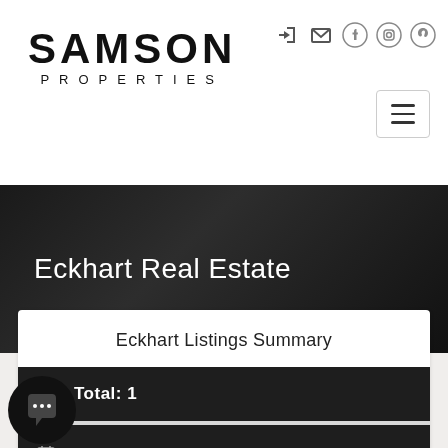[Figure (logo): Samson Properties logo with large SAMSON text and smaller PROPERTIES subtitle]
[Figure (infographic): Social media icons: login, email, Facebook, Instagram, Pinterest]
[Figure (other): Hamburger menu button with three horizontal lines]
Eckhart Real Estate
Eckhart Listings Summary
Total: 1
[Figure (other): Chat widget bubble with speech bubble icon showing ellipsis]